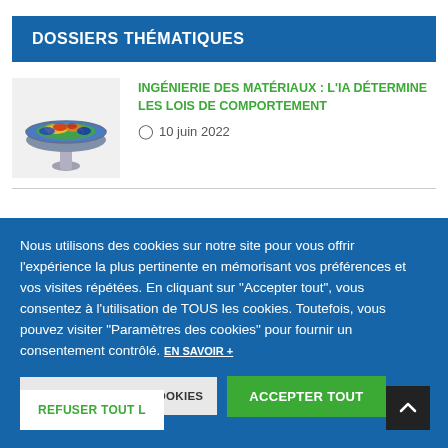DOSSIERS THÉMATIQUES
[Figure (illustration): 3D rendered disc/valve component with colorful stress/heat map visualization in greens, yellows, reds, and blues]
INGÉNIERIE DES MATÉRIAUX : L'IA DÉTERMINE LES LOIS DE COMPORTEMENT
⊙ 10 juin 2022
Nous utilisons des cookies sur notre site pour vous offrir l'expérience la plus pertinente en mémorisant vos préférences et vos visites répétées. En cliquant sur "Accepter tout", vous consentez à l'utilisation de TOUS les cookies. Toutefois, vous pouvez visiter "Paramètres des cookies" pour fournir un consentement contrôlé. EN SAVOIR +
PARAMÈTRES DES COOKIES
ACCEPTER TOUT
REFUSER TOUT L